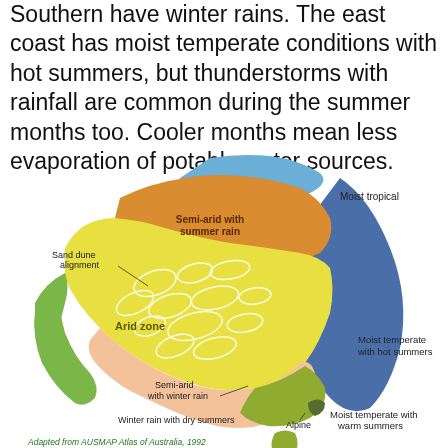Southern have winter rains. The east coast has moist temperate conditions with hot summers, but thunderstorms with rainfall are common during the summer months too. Cooler months mean less evaporation of potable water sources.
[Figure (map): Climate zones map of Australia showing: Moist tropical (blue, north), Semi-arid with summer rain (orange, north-center), Arid zone (yellow, center) with sand dune alignment markers, Semi-arid with winter rain (peach, south-center), Winter rain with dry summers (green, southwest), Moist temperate with hot summers (blue, east coast), Moist temperate with warm summers (olive green, southeast and Tasmania), Alpine (dark, southeast mountains). Adapted from AUSMAP Atlas of Australia, 1992.]
Adapted from AUSMAP Atlas of Australia, 1992